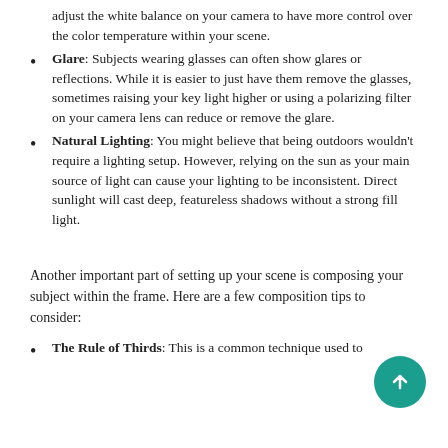adjust the white balance on your camera to have more control over the color temperature within your scene.
Glare: Subjects wearing glasses can often show glares or reflections. While it is easier to just have them remove the glasses, sometimes raising your key light higher or using a polarizing filter on your camera lens can reduce or remove the glare.
Natural Lighting: You might believe that being outdoors wouldn't require a lighting setup. However, relying on the sun as your main source of light can cause your lighting to be inconsistent. Direct sunlight will cast deep, featureless shadows without a strong fill light.
Another important part of setting up your scene is composing your subject within the frame. Here are a few composition tips to consider:
The Rule of Thirds: This is a common technique used to